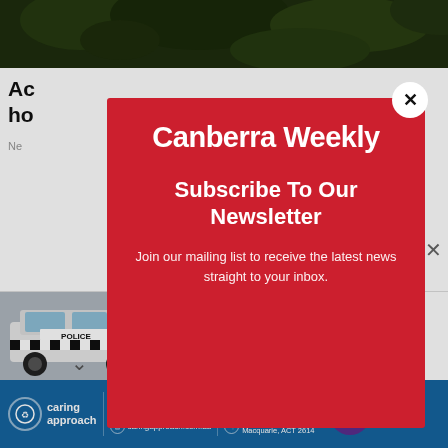[Figure (photo): Dark treetop/foliage photo at top of page]
Ac
ho
Ne
As C
Gove
Serv
[Figure (screenshot): Canberra Weekly newsletter subscription modal popup with red background, white text logo 'Canberra Weekly', heading 'Subscribe To Our Newsletter', and body text 'Join our mailing list to receive the latest news straight to your inbox.']
[Figure (photo): Police car with checker pattern, notification bar for missing 33-year-old woman's body found in Belconnen]
Missing 33-year-old woman's body found in Belconnen | Canberra Weekly
[Figure (infographic): Caring Approach advertisement banner with contact details: 02 6253 1017, 02 6253 1357, caringapproach.com.au, intake@caringapproach.com.au, 42-31 Wiseman Street, Macquarie, ACT 2614, I love NDIS logo]